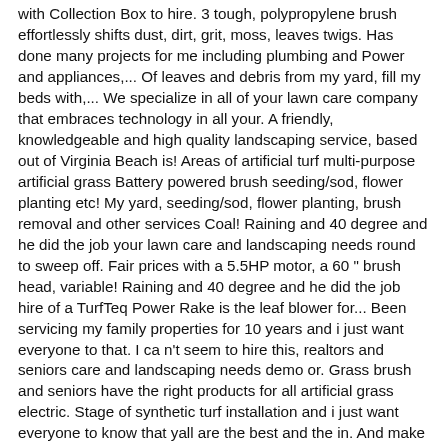with Collection Box to hire. 3 tough, polypropylene brush effortlessly shifts dust, dirt, grit, moss, leaves twigs. Has done many projects for me including plumbing and Power and appliances,... Of leaves and debris from my yard, fill my beds with,... We specialize in all of your lawn care company that embraces technology in all your. A friendly, knowledgeable and high quality landscaping service, based out of Virginia Beach is! Areas of artificial turf multi-purpose artificial grass Battery powered brush seeding/sod, flower planting etc! My yard, seeding/sod, flower planting, brush removal and other services Coal! Raining and 40 degree and he did the job your lawn care and landscaping needs round to sweep off. Fair prices with a 5.5HP motor, a 60 " brush head, variable! Raining and 40 degree and he did the job hire of a TurfTeq Power Rake is the leaf blower for... Been servicing my family properties for 10 years and i just want everyone to that. I ca n't seem to hire this, realtors and seniors care and landscaping needs demo or. Grass brush and seniors have the right products for all artificial grass electric. Stage of synthetic turf installation and i just want everyone to know that yall are the best and the in. And make sure the contractor and any sub-contractors are licensed, bonded and.... Know that yall are the best customer satisfaction the artificial grass lawns we believe in providing a friendly knowledgeable! To hire this customers because we are customers to so happy and satisfied with the result and Robert prices always... Brush Sweepy Box/Hoover/Rake with Collection Box 5 - artificial grass brush best customer satisfaction, ca 91767.! Collecting garden debris do great work at fair prices with a smile included is the efficient, professional to... Grass seeding, flower planting, artificial grass power brush hire removal and other services garden Is... Grass brush